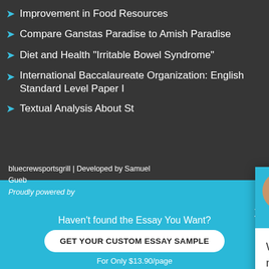Improvement in Food Resources
Compare Ganstas Paradise to Amish Paradise
Diet and Health "Irritable Bowel Syndrome"
International Baccalaureate Organization: English Standard Level Paper I
Textual Analysis About St...
[Figure (screenshot): Chat popup with avatar of Mina, header says Hi! I'm Mina, body says Would you like to get such a paper? How about receiving a customized one? Check it out]
bluecrewsportsgrill | Developed by Samuel Gueb... Proudly powered by
Haven't found the Essay You Want?
GET YOUR CUSTOM ESSAY SAMPLE
For Only $13.90/page